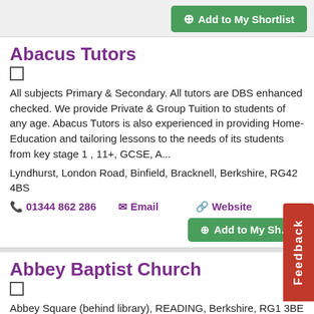Add to My Shortlist
Abacus Tutors
All subjects Primary & Secondary. All tutors are DBS enhanced checked. We provide Private & Group Tuition to students of any age. Abacus Tutors is also experienced in providing Home-Education and tailoring lessons to the needs of its students from key stage 1 , 11+, GCSE, A...
Lyndhurst, London Road, Binfield, Bracknell, Berkshire, RG42 4BS
01344 862 286
Email
Website
Add to My Shortlist
Abbey Baptist Church
Abbey Square (behind library), READING, Berkshire, RG1 3BE
0118 957 2197
Email
Website